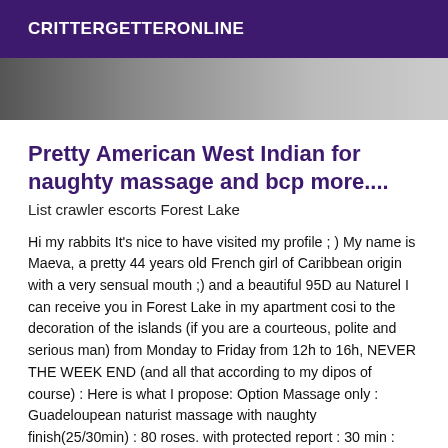CRITTERGETTERONLINE
[Figure (photo): Partial photo strip showing a dark and light toned background image, cropped]
Pretty American West Indian for naughty massage and bcp more....
List crawler escorts Forest Lake
Hi my rabbits It's nice to have visited my profile ; ) My name is Maeva, a pretty 44 years old French girl of Caribbean origin with a very sensual mouth ;) and a beautiful 95D au Naturel I can receive you in Forest Lake in my apartment cosi to the decoration of the islands (if you are a courteous, polite and serious man) from Monday to Friday from 12h to 16h, NEVER THE WEEK END (and all that according to my dipos of course) : Here is what I propose: Option Massage only : Guadeloupean naturist massage with naughty finish(25/30min) : 80 roses. with protected report : 30 min : 100 roses ; 45 min : 120 ; 1h : 140 ; 90 min : 200 ; 2h : 260 ; 3h 380 ; (nothing is NEGOCIABLE, we are not